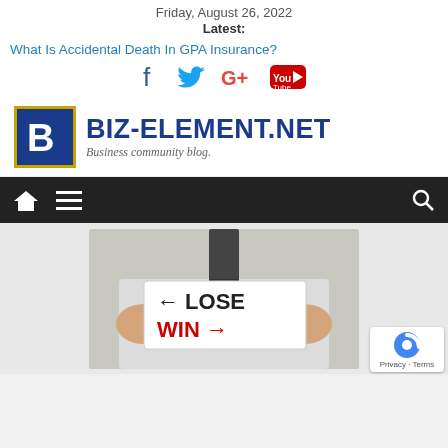Friday, August 26, 2022
Latest:
What Is Accidental Death In GPA Insurance?
[Figure (logo): Social media icons: Facebook, Twitter, Google+, YouTube]
[Figure (logo): Biz-Element.net logo with blue square containing B letter and text BIZ-ELEMENT.NET, tagline Business community blog.]
[Figure (infographic): Navigation bar with home icon, hamburger menu icon, and search icon on dark background]
[Figure (photo): Person in white shirt and striped tie holding a sign that reads: left arrow LOSE and WIN right arrow, WIN written in red]